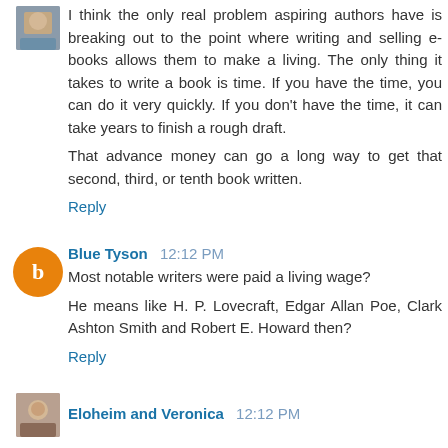I think the only real problem aspiring authors have is breaking out to the point where writing and selling e-books allows them to make a living. The only thing it takes to write a book is time. If you have the time, you can do it very quickly. If you don't have the time, it can take years to finish a rough draft.
That advance money can go a long way to get that second, third, or tenth book written.
Reply
Blue Tyson 12:12 PM
Most notable writers were paid a living wage?
He means like H. P. Lovecraft, Edgar Allan Poe, Clark Ashton Smith and Robert E. Howard then?
Reply
Eloheim and Veronica 12:12 PM